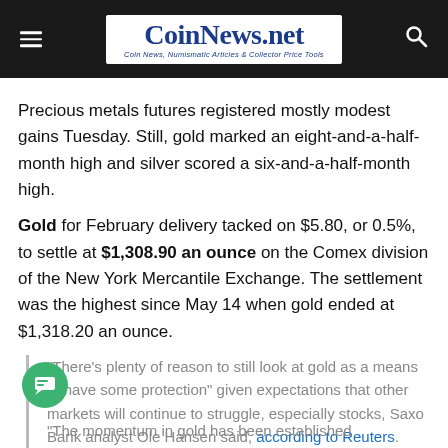CoinNews.net — Coin News, Numismatic Articles & Collector Price Tools
Precious metals futures registered mostly modest gains Tuesday. Still, gold marked an eight-and-a-half-month high and silver scored a six-and-a-half-month high.
Gold for February delivery tacked on $5.80, or 0.5%, to settle at $1,308.90 an ounce on the Comex division of the New York Mercantile Exchange. The settlement was the highest since May 14 when gold ended at $1,318.20 an ounce.
"There's plenty of reason to still look at gold as a means to have some protection" given expectations that other markets will continue to struggle, especially stocks, Saxo Bank analyst Ole Hansen said, according to Reuters.
"The momentum in gold has been established